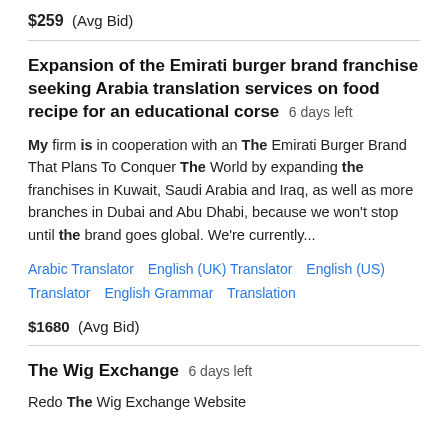$259  (Avg Bid)
Expansion of the Emirati burger brand franchise seeking Arabia translation services on food recipe for an educational corse  6 days left
My firm is in cooperation with an The Emirati Burger Brand That Plans To Conquer The World by expanding the franchises in Kuwait, Saudi Arabia and Iraq, as well as more branches in Dubai and Abu Dhabi, because we won't stop until the brand goes global. We're currently...
Arabic Translator   English (UK) Translator   English (US) Translator   English Grammar   Translation
$1680  (Avg Bid)
The Wig Exchange  6 days left
Redo The Wig Exchange Website